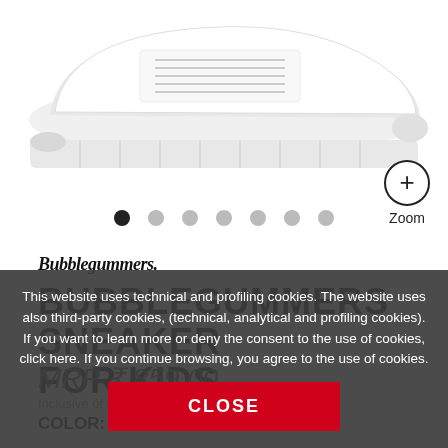[Figure (photo): White sneaker shoe product image on white background, partial view showing bottom portion of sole]
[Figure (other): Zoom button: circle with plus sign and Zoom label below]
[Figure (other): Carousel dots: 7 dots, first one black/active, rest grey/inactive]
Bubblegummers
BUBBLEGUMMERS SNEAKER FOR KIDS
MRP ₹ 859.00
Inclusive of all taxes
COLOR: SELECT A COLOR
This website uses technical and profiling cookies. The website uses also third-party cookies, (technical, analytical and profiling cookies). If you want to learn more or deny the consent to the use of cookies, click here. If you continue browsing, you agree to the use of cookies.
CLOSE